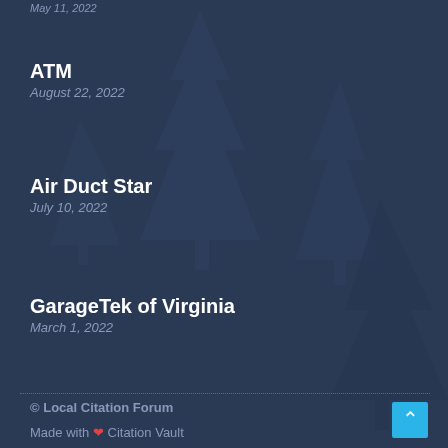May 11, 2022
ATM
August 22, 2022
Air Duct Star
July 10, 2022
GarageTek of Virginia
March 1, 2022
© Local Citation Forum
Made with ❤ Citation Vault